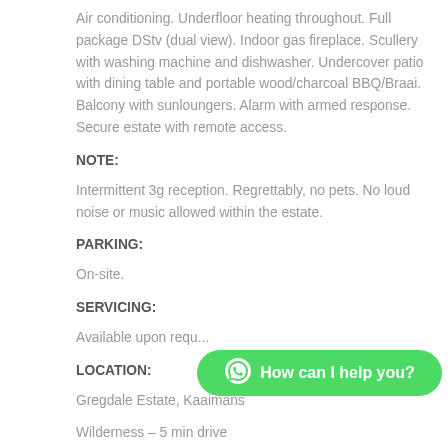Air conditioning. Underfloor heating throughout. Full package DStv (dual view). Indoor gas fireplace. Scullery with washing machine and dishwasher. Undercover patio with dining table and portable wood/charcoal BBQ/Braai. Balcony with sunloungers. Alarm with armed response. Secure estate with remote access.
NOTE:
Intermittent 3g reception. Regrettably, no pets. No loud noise or music allowed within the estate.
PARKING:
On-site.
SERVICING:
Available upon requ...
LOCATION:
Gregdale Estate, Kaaimans
Wilderness – 5 min drive
[Figure (other): WhatsApp chat button overlay with green rounded pill shape, WhatsApp circle icon on left, text 'How can I help you?' in white bold font]